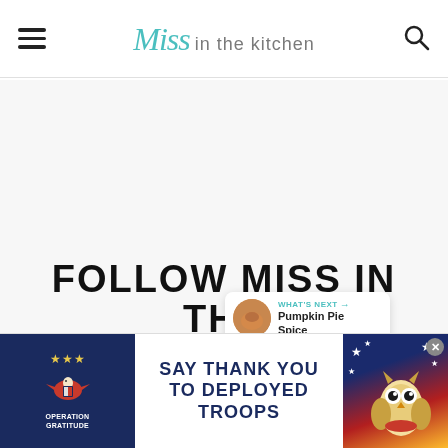Miss in the kitchen
[Figure (other): Large white/blank image area below header]
[Figure (infographic): Heart/save button (teal circle with heart icon) with count 249, and share button below]
[Figure (infographic): What's Next panel showing Pumpkin Pie Spice with thumbnail]
FOLLOW MISS IN THE KITCHEN ON SOCIAL
[Figure (infographic): Advertisement banner: Operation Gratitude - SAY THANK YOU TO DEPLOYED TROOPS with star/owl graphics]